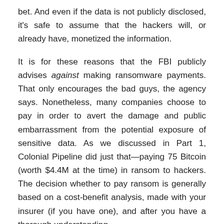bet. And even if the data is not publicly disclosed, it's safe to assume that the hackers will, or already have, monetized the information.
It is for these reasons that the FBI publicly advises against making ransomware payments. That only encourages the bad guys, the agency says. Nonetheless, many companies choose to pay in order to avert the damage and public embarrassment from the potential exposure of sensitive data. As we discussed in Part 1, Colonial Pipeline did just that—paying 75 Bitcoin (worth $4.4M at the time) in ransom to hackers. The decision whether to pay ransom is generally based on a cost-benefit analysis, made with your insurer (if you have one), and after you have a thorough understanding